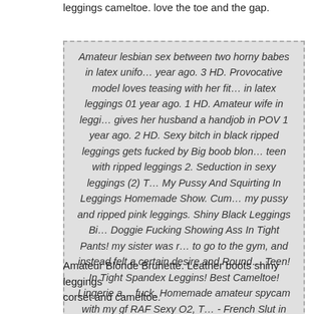leggings cameltoe. love the toe and the gap.
Amateur lesbian sex between two horny babes in latex unifo… year ago. 3 HD. Provocative model loves teasing with her fit… in latex leggings 01 year ago. 1 HD. Amateur wife in leggi… gives her husband a handjob in POV 1 year ago. 2 HD. Sexy bitch in black ripped leggings gets fucked by Big boob blon… teen with ripped leggings 2. Seduction in sexy leggings (2) T… My Pussy And Squirting In Leggings Homemade Show. Cum… my pussy and ripped pink leggings. Shiny Black Leggings Bi… Doggie Fucking Showing Ass In Tight Pants! my sister was r… to go to the gym, and instead felt a certain desire and Round… Teen! In Tight Spandex Leggins! Best Cameltoe! Lingerie a… fuck. Homemade amateur spycam with my gf RAF Sexy O2, T… - French Slut in satin lingerie -
Amateur Blonde Brunette. Leather boots shiny leggings corset and cameltoe.